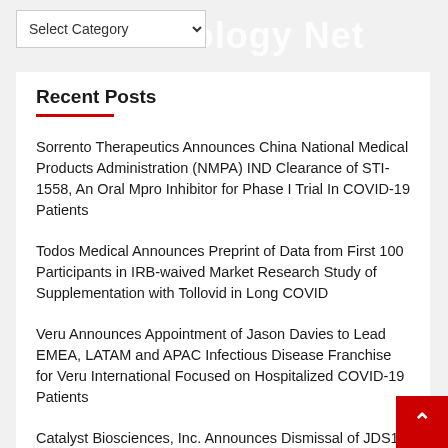Technology Net
Recent Posts
Sorrento Therapeutics Announces China National Medical Products Administration (NMPA) IND Clearance of STI-1558, An Oral Mpro Inhibitor for Phase I Trial In COVID-19 Patients
Todos Medical Announces Preprint of Data from First 100 Participants in IRB-waived Market Research Study of Supplementation with Tollovid in Long COVID
Veru Announces Appointment of Jason Davies to Lead EMEA, LATAM and APAC Infectious Disease Franchise for Veru International Focused on Hospitalized COVID-19 Patients
Catalyst Biosciences, Inc. Announces Dismissal of JDS1